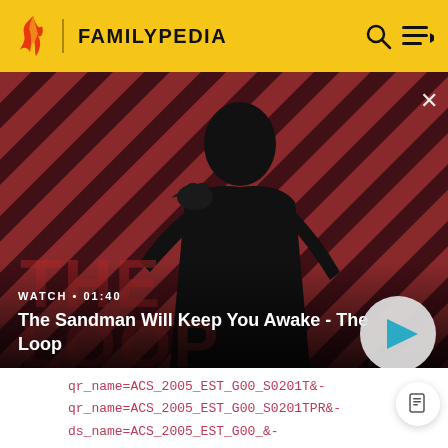FAMILYPEDIA
[Figure (screenshot): Video thumbnail showing a dark-robed figure with a crow on shoulder against a red diagonal striped background. Text overlay reads WATCH • 01:40 and The Sandman Will Keep You Awake - The Loop with a play button.]
qr_name=ACS_2005_EST_G00_S0201T&-
qr_name=ACS_2005_EST_G00_S0201TPR&-
ds_name=ACS_2005_EST_G00_&-
TABLE_NAMEX=&-ci_type=A&-redoLog=false&-
charIterations=047&-geo_id=01000US&-format=&-